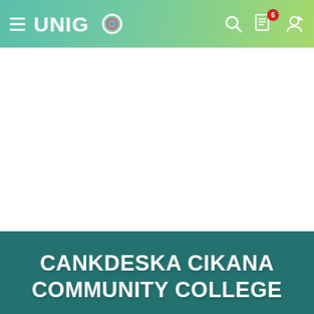UNIGO navigation header with hamburger menu, logo, search icon, checklist icon with badge 6, and user icon
[Figure (screenshot): White content area - main body placeholder image area]
CANKDESKA CIKANA COMMUNITY COLLEGE